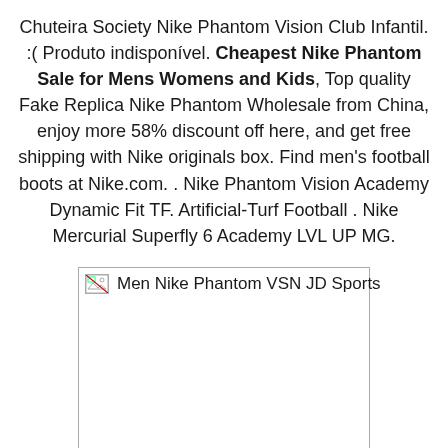Chuteira Society Nike Phantom Vision Club Infantil. :( Produto indisponível. Cheapest Nike Phantom Sale for Mens Womens and Kids, Top quality Fake Replica Nike Phantom Wholesale from China, enjoy more 58% discount off here, and get free shipping with Nike originals box. Find men's football boots at Nike.com. . Nike Phantom Vision Academy Dynamic Fit TF. Artificial-Turf Football . Nike Mercurial Superfly 6 Academy LVL UP MG.
[Figure (photo): Broken image placeholder with label 'Men Nike Phantom VSN JD Sports']